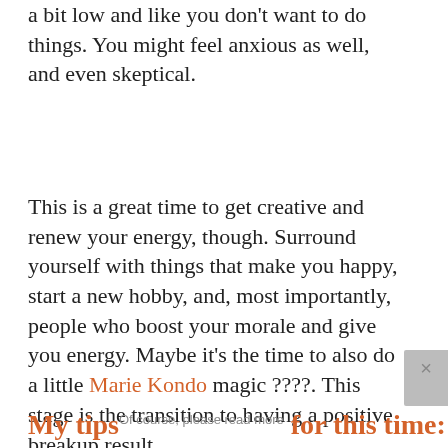a bit low and like you don't want to do things. You might feel anxious as well, and even skeptical.
This is a great time to get creative and renew your energy, though. Surround yourself with things that make you happy, start a new hobby, and, most importantly, people who boost your morale and give you energy. Maybe it's the time to also do a little Marie Kondo magic ????. This stage is the transition to having a positive breakup result.
My tips for this time: